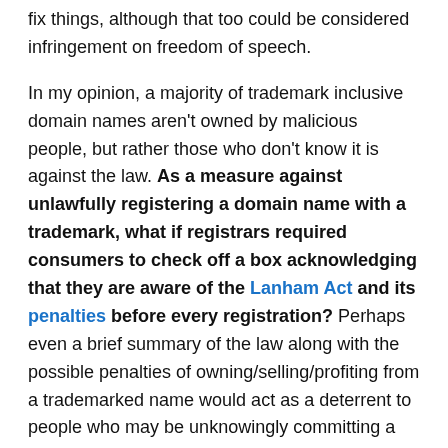fix things, although that too could be considered infringement on freedom of speech.
In my opinion, a majority of trademark inclusive domain names aren't owned by malicious people, but rather those who don't know it is against the law. As a measure against unlawfully registering a domain name with a trademark, what if registrars required consumers to check off a box acknowledging that they are aware of the Lanham Act and its penalties before every registration? Perhaps even a brief summary of the law along with the possible penalties of owning/selling/profiting from a trademarked name would act as a deterrent to people who may be unknowingly committing a crime.
I have seen beginner domain investors posting on domain forums, and many are shocked/scared when they read about the ramifications of being sued for violating the Lanham Act. As much as the domain investment community has grown, there are countless people trying to